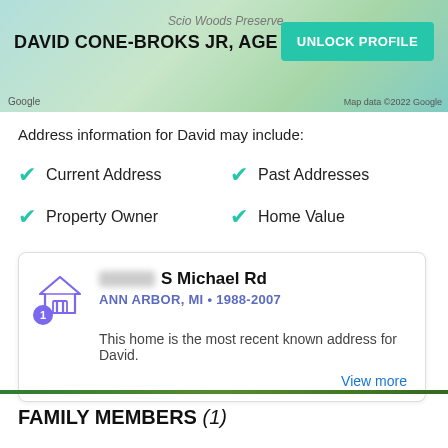[Figure (map): Partial map background showing Scio Woods Preserve area]
DAVID CONE-BROKS JR, AGE 54
UNLOCK PROFILE
Address information for David may include:
Current Address
Past Addresses
Property Owner
Home Value
S Michael Rd
ANN ARBOR, MI • 1988-2007
This home is the most recent known address for David.
View more
FAMILY MEMBERS (1)